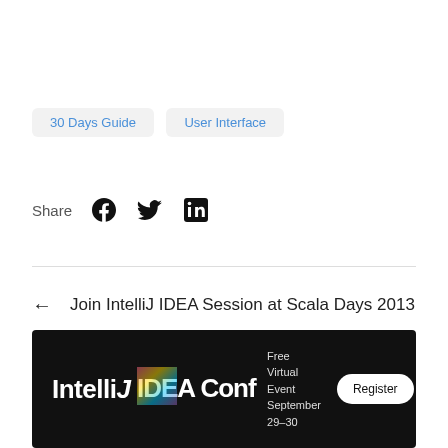30 Days Guide
User Interface
Share
← Join IntelliJ IDEA Session at Scala Days 2013
→ IntelliJ IDEA 13 Early Preview is Out
[Figure (infographic): IntelliJ IDEA Conf banner. Black background. Logo reads 'IntelliJ IDEA Conf' in white bold text with rainbow prismatic effect on the i/IDEA. Right side: 'Free Virtual Event September 29–30' and a 'Register' button.]